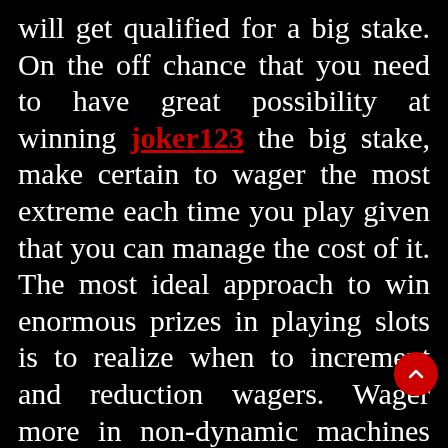will get qualified for a big stake. On the off chance that you need to have great possibility at winning joker123 the big stake, make certain to wager the most extreme each time you play given that you can manage the cost of it. The most ideal approach to win enormous prizes in playing slots is to realize when to increment and reduction wagers. Wager more in non-dynamic machines on the grounds that these machines often give the best payouts. Payouts might be limited quantities but since it is regularly given, you will